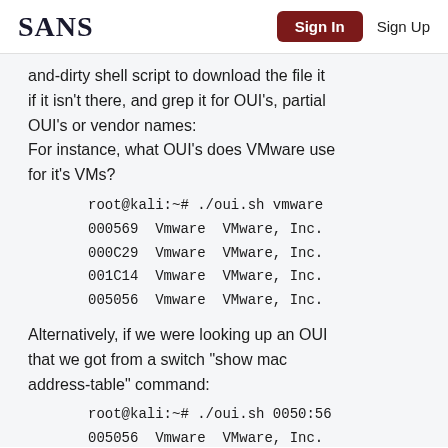SANS | Sign In | Sign Up
and-dirty shell script to download the file it if it isn't there, and grep it for OUI's, partial OUI's or vendor names:
For instance, what OUI's does VMware use for it's VMs?
root@kali:~# ./oui.sh vmware
000569  Vmware  VMware, Inc.
000C29  Vmware  VMware, Inc.
001C14  Vmware  VMware, Inc.
005056  Vmware  VMware, Inc.
Alternatively, if we were looking up an OUI that we got from a switch "show mac address-table" command:
root@kali:~# ./oui.sh 0050:56
005056  Vmware  VMware, Inc.